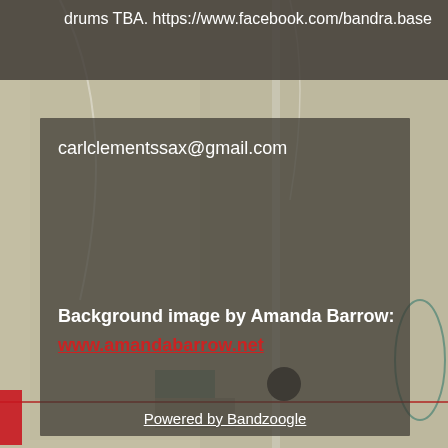drums TBA. https://www.facebook.com/bandra.base
[Figure (illustration): Abstract painted background with beige/tan texture, vertical stripe, red horizontal line, small red block at left edge, dark circle, and teal accents]
carlclementssax@gmail.com
Background image by Amanda Barrow:
www.amandabarrow.net
Powered by Bandzoogle